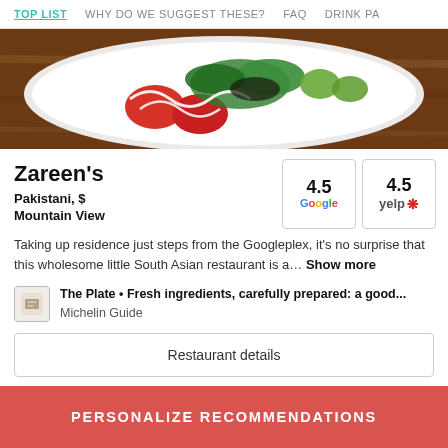TOP LIST  WHY DO WE SUGGEST THESE?  FAQ  DRINK PA
[Figure (photo): Food photo showing a white plate with salad greens, tomatoes, cucumbers, and drizzled white sauce on a wooden table background]
Zareen's
Pakistani, $
Mountain View
[Figure (infographic): Rating box showing 4.5 Google rating]
[Figure (infographic): Rating box showing 4.5 Yelp rating]
Taking up residence just steps from the Googleplex, it’s no surprise that this wholesome little South Asian restaurant is a... Show more
The Plate • Fresh ingredients, carefully prepared: a good... Michelin Guide
Restaurant details
PERSONALIZE RECOMMENDATIONS